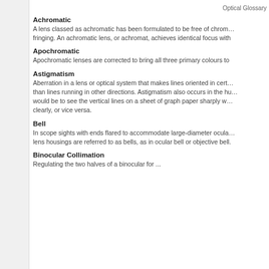Optical Glossary
Achromatic
A lens classed as achromatic has been formulated to be free of chromatic fringing. An achromatic lens, or achromat, achieves identical focus with
Apochromatic
Apochromatic lenses are corrected to bring all three primary colours to
Astigmatism
Aberration in a lens or optical system that makes lines oriented in certain directions appear sharper than lines running in other directions. Astigmatism also occurs in the human eye. An example would be to see the vertical lines on a sheet of graph paper sharply while the horizontal lines are not clearly, or vice versa.
Bell
In scope sights with ends flared to accommodate large-diameter ocular or objective lenses, those lens housings are referred to as bells, as in ocular bell or objective bell.
Binocular Collimation
Regulating the two halves of a binocular for ...